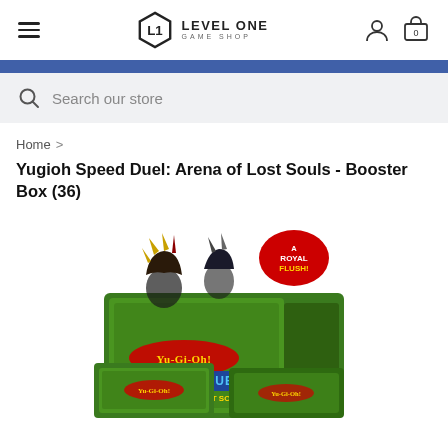Level One Game Shop
Search our store
Home > Yugioh Speed Duel: Arena of Lost Souls - Booster Box (36)
Yugioh Speed Duel: Arena of Lost Souls - Booster Box (36)
[Figure (photo): Yu-Gi-Oh! Speed Duel: Arena of Lost Souls booster box product photo showing the green-themed box with anime characters and branding.]